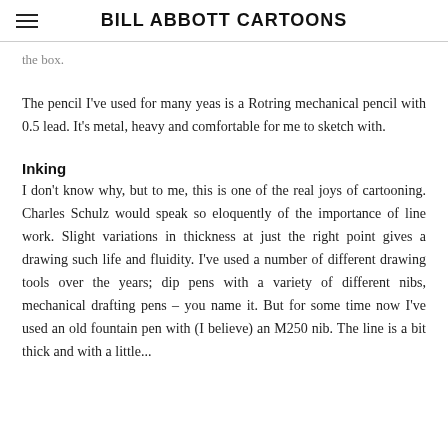BILL ABBOTT CARTOONS
the box.
The pencil I've used for many yeas is a Rotring mechanical pencil with 0.5 lead. It's metal, heavy and comfortable for me to sketch with.
Inking
I don't know why, but to me, this is one of the real joys of cartooning. Charles Schulz would speak so eloquently of the importance of line work. Slight variations in thickness at just the right point gives a drawing such life and fluidity. I've used a number of different drawing tools over the years; dip pens with a variety of different nibs, mechanical drafting pens – you name it. But for some time now I've used an old fountain pen with (I believe) an M250 nib. The line is a bit thick and with a little...